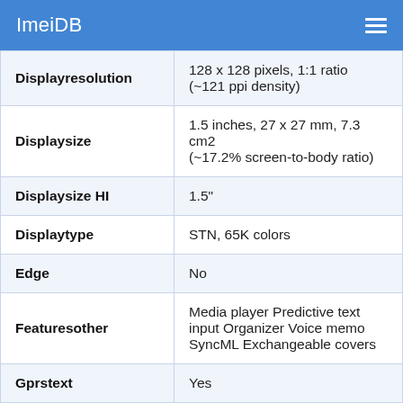ImeiDB
| Displayresolution | 128 x 128 pixels, 1:1 ratio (~121 ppi density) |
| Displaysize | 1.5 inches, 27 x 27 mm, 7.3 cm2 (~17.2% screen-to-body ratio) |
| Displaysize HI | 1.5" |
| Displaytype | STN, 65K colors |
| Edge | No |
| Featuresother | Media player Predictive text input Organizer Voice memo SyncML Exchangeable covers |
| Gprstext | Yes |
| Gps | No |